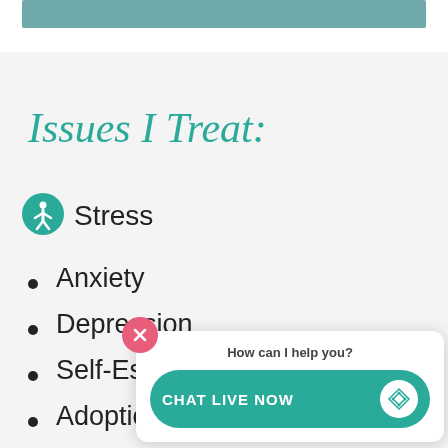[Figure (other): Teal/grey horizontal bar at top of page]
Issues I Treat:
Stress
Anxiety
Depression
Self-Esteem
Adoption Issues
Autism Spectrum Disorders (ASD)
[Figure (screenshot): Chat live now popup with close button, question 'How can I help you?' and teal CHAT LIVE NOW button with diamond logo]